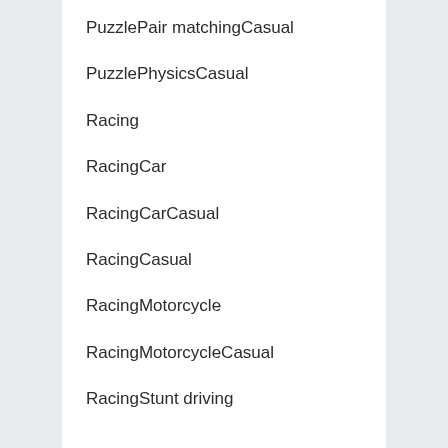PuzzlePair matchingCasual
PuzzlePhysicsCasual
Racing
RacingCar
RacingCarCasual
RacingCasual
RacingMotorcycle
RacingMotorcycleCasual
RacingStunt driving